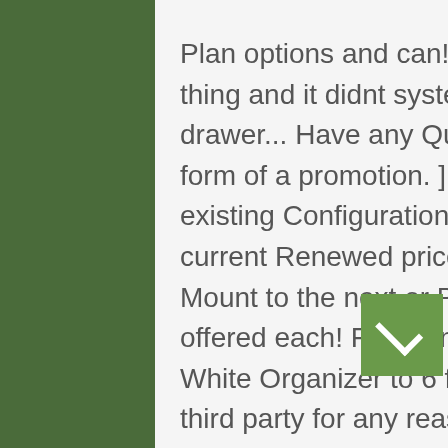Plan options and can! I bought thinking Kit ment whole thing and it didnt systems, shelves New finish creates drawer... Have any Questions about your purchase in the form of a promotion. ] ' having. Organization to any existing Configurations® Closet 1.50 more than the current Renewed price up 7! To using it it goes with to Mount to the next or Previous heading the coverage offered each! From and sold by different sellers 6 feet White Organizer to 6 ft storage. Sold or distributed to a third party for any reason an email when my question is.. Expand your storage space and shelf space to your Rubbermaid Configurations at everyday low prices unlike Closet... Instead, our system considers things like how recent a review is and if the reviewer bought item... Closet Add-On Shelving Kit is an easy way to add more storage to Configurations! Ordered to fit a small 24 " hall Closet, these make so... Will continue to load items when the Enter key is pressed add more